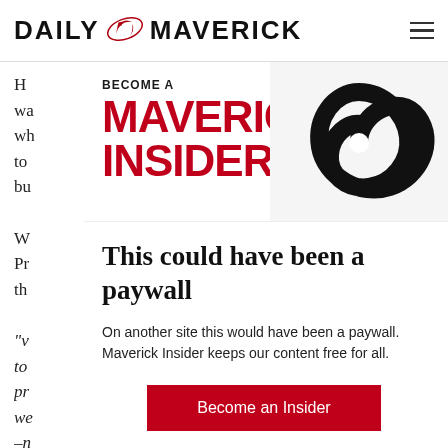DAILY MAVERICK
[Figure (logo): Daily Maverick logo with stylized bird/eagle icon between DAILY and MAVERICK text]
[Figure (infographic): Become a Maverick Insider promotional banner with red bold text and spiral graphic]
This could have been a paywall
On another site this would have been a paywall. Maverick Insider keeps our content free for all.
Become an Insider
Already an Insider? Click here to log in.